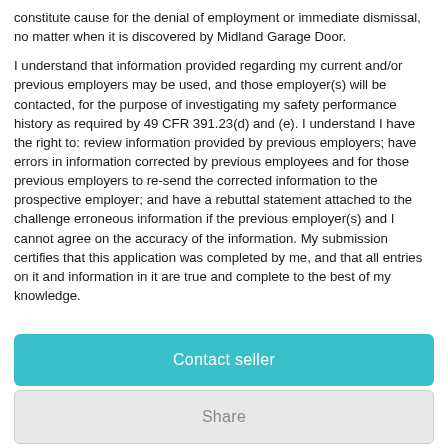constitute cause for the denial of employment or immediate dismissal, no matter when it is discovered by Midland Garage Door.

I understand that information provided regarding my current and/or previous employers may be used, and those employer(s) will be contacted, for the purpose of investigating my safety performance history as required by 49 CFR 391.23(d) and (e). I understand I have the right to: review information provided by previous employers; have errors in information corrected by previous employees and for those previous employers to re-send the corrected information to the prospective employer; and have a rebuttal statement attached to the challenge erroneous information if the previous employer(s) and I cannot agree on the accuracy of the information. My submission certifies that this application was completed by me, and that all entries on it and information in it are true and complete to the best of my knowledge.
Contact seller
Share